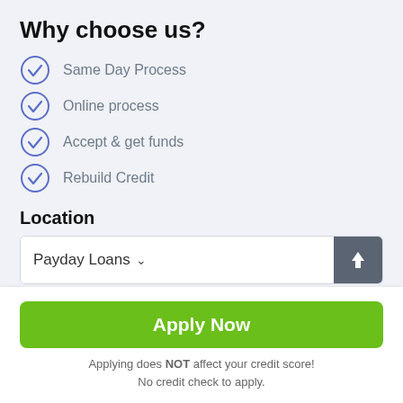Why choose us?
Same Day Process
Online process
Accept & get funds
Rebuild Credit
Location
[Figure (screenshot): Dropdown selector showing 'Payday Loans' with a chevron, and an upload arrow button on the right. Below is a partially visible second input row.]
Apply Now
Applying does NOT affect your credit score!
No credit check to apply.